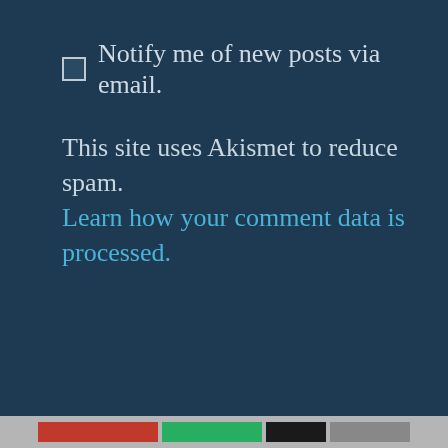☐ Notify me of new posts via email.
This site uses Akismet to reduce spam. Learn how your comment data is processed.
Recent Posts
Privacy & Cookies: This site uses cookies. By continuing to use this website, you agree to their use.
To find out more, including how to control cookies, see here:
Cookie Policy
Close and accept